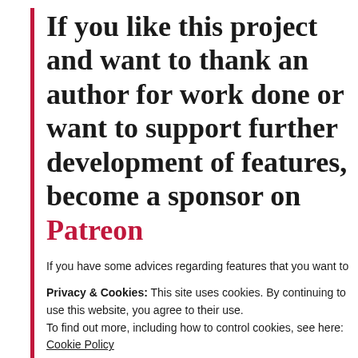If you like this project and want to thank an author for work done or want to support further development of features, become a sponsor on Patreon
If you have some advices regarding features that you want to
Privacy & Cookies: This site uses cookies. By continuing to use this website, you agree to their use.
To find out more, including how to control cookies, see here:
Cookie Policy
Close and accept
Fixed  reconnect issue on MiBand6